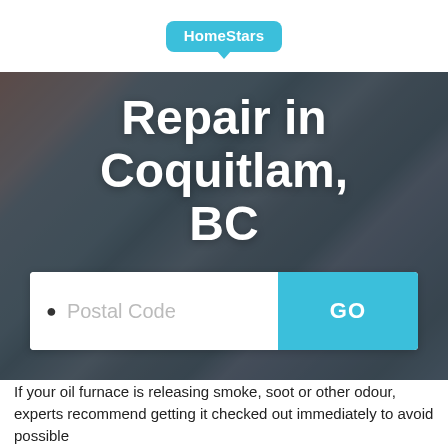HomeStars
Repair in Coquitlam, BC
[Figure (screenshot): Search box with postal code placeholder text and a cyan GO button]
If your oil furnace is releasing smoke, soot or other odour, experts recommend getting it checked out immediately to avoid possible